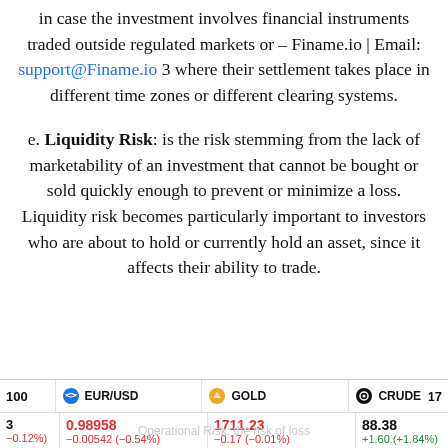in case the investment involves financial instruments traded outside regulated markets or – Finame.io | Email: support@Finame.io 3 where their settlement takes place in different time zones or different clearing systems.
e. Liquidity Risk: is the risk stemming from the lack of marketability of an investment that cannot be bought or sold quickly enough to prevent or minimize a loss. Liquidity risk becomes particularly important to investors who are about to hold or currently hold an asset, since it affects their ability to trade.
100  EUR/USD 0.98958 −0.00542 (−0.54%)  GOLD 1711.23 −0.17 (−0.01%)  CRUDE 88.38 +1.60 (+1.84%)